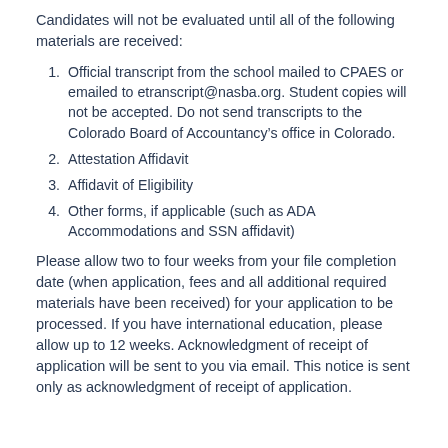Candidates will not be evaluated until all of the following materials are received:
Official transcript from the school mailed to CPAES or emailed to etranscript@nasba.org. Student copies will not be accepted. Do not send transcripts to the Colorado Board of Accountancy’s office in Colorado.
Attestation Affidavit
Affidavit of Eligibility
Other forms, if applicable (such as ADA Accommodations and SSN affidavit)
Please allow two to four weeks from your file completion date (when application, fees and all additional required materials have been received) for your application to be processed. If you have international education, please allow up to 12 weeks. Acknowledgment of receipt of application will be sent to you via email. This notice is sent only as acknowledgment of receipt of application.